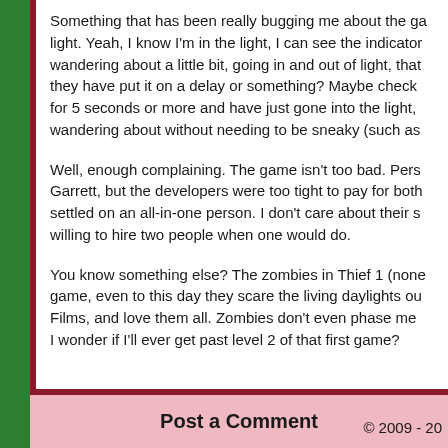Something that has been really bugging me about the game is the light. Yeah, I know I'm in the light, I can see the indicator. I'm wandering about a little bit, going in and out of light, that's fine. Did they have put it on a delay or something? Maybe check if I've been in light for 5 seconds or more and have just gone into the light, then I'm just wandering about without needing to be sneaky (such as
Well, enough complaining. The game isn't too bad. Person who voiced Garrett, but the developers were too tight to pay for both roles so settled on an all-in-one person. I don't care about their s willing to hire two people when one would do.
You know something else? The zombies in Thief 1 (none game, even to this day they scare the living daylights ou Films, and love them all. Zombies don't even phase me I wonder if I'll ever get past level 2 of that first game?
Post a Comment
© 2009 - 20